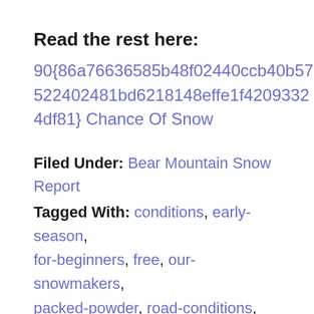Read the rest here:
90{86a76636585b48f02440ccb40b57522402481bd6218148effe1f42093324df81} Chance Of Snow
Filed Under: Bear Mountain Snow Report
Tagged With: conditions, early-season, for-beginners, free, our-snowmakers, packed-powder, road-conditions, silver, snow report, snowmaking, special deals, street, swimming-pool-